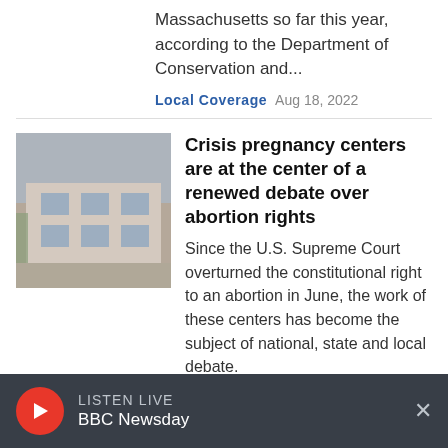Massachusetts so far this year, according to the Department of Conservation and...
Local Coverage  Aug 18, 2022
Crisis pregnancy centers are at the center of a renewed debate over abortion rights
Since the U.S. Supreme Court overturned the constitutional right to an abortion in June, the work of these centers has become the subject of national, state and local debate.
Health  06:01  Aug 18, 2022
LISTEN LIVE
BBC Newsday